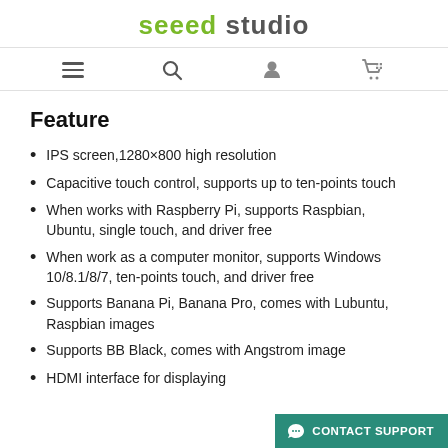seeed studio
[Figure (other): Navigation bar with hamburger menu, search, user account, and shopping cart icons]
Feature
IPS screen,1280×800 high resolution
Capacitive touch control, supports up to ten-points touch
When works with Raspberry Pi, supports Raspbian, Ubuntu, single touch, and driver free
When work as a computer monitor, supports Windows 10/8.1/8/7, ten-points touch, and driver free
Supports Banana Pi, Banana Pro, comes with Lubuntu, Raspbian images
Supports BB Black, comes with Angstrom image
HDMI interface for displaying